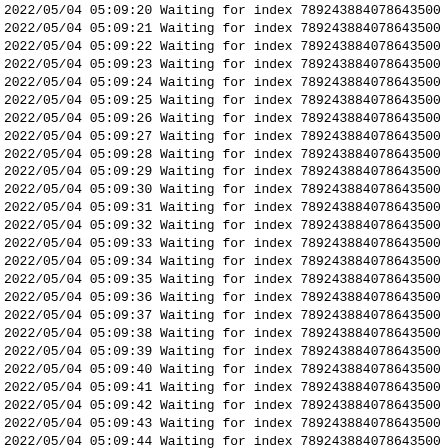2022/05/04 05:09:20 Waiting for index 789243884078643500
2022/05/04 05:09:21 Waiting for index 789243884078643500
2022/05/04 05:09:22 Waiting for index 789243884078643500
2022/05/04 05:09:23 Waiting for index 789243884078643500
2022/05/04 05:09:24 Waiting for index 789243884078643500
2022/05/04 05:09:25 Waiting for index 789243884078643500
2022/05/04 05:09:26 Waiting for index 789243884078643500
2022/05/04 05:09:27 Waiting for index 789243884078643500
2022/05/04 05:09:28 Waiting for index 789243884078643500
2022/05/04 05:09:29 Waiting for index 789243884078643500
2022/05/04 05:09:30 Waiting for index 789243884078643500
2022/05/04 05:09:31 Waiting for index 789243884078643500
2022/05/04 05:09:32 Waiting for index 789243884078643500
2022/05/04 05:09:33 Waiting for index 789243884078643500
2022/05/04 05:09:34 Waiting for index 789243884078643500
2022/05/04 05:09:35 Waiting for index 789243884078643500
2022/05/04 05:09:36 Waiting for index 789243884078643500
2022/05/04 05:09:37 Waiting for index 789243884078643500
2022/05/04 05:09:38 Waiting for index 789243884078643500
2022/05/04 05:09:39 Waiting for index 789243884078643500
2022/05/04 05:09:40 Waiting for index 789243884078643500
2022/05/04 05:09:41 Waiting for index 789243884078643500
2022/05/04 05:09:42 Waiting for index 789243884078643500
2022/05/04 05:09:43 Waiting for index 789243884078643500
2022/05/04 05:09:44 Waiting for index 789243884078643500
2022/05/04 05:09:45 Index is 789243884078643500 now acti
2022/05/04 05:09:45 Build command issued for the deferred
2022/05/04 05:09:46 Dropping the secondary index id_compa
2022/05/04 05:09:47 Index dropped
2022/05/04 05:09:47 Dropping the secondary index id_age
2022/05/04 05:09:48 Index dropped